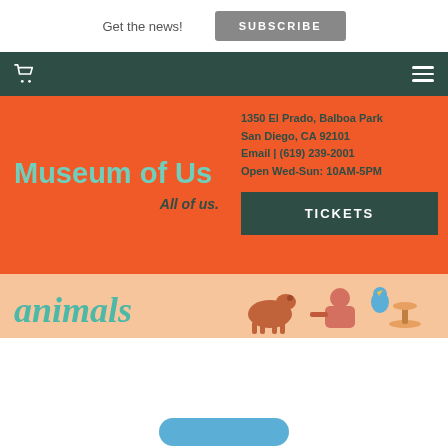Get the news!
SUBSCRIBE
[Figure (other): Shopping cart icon (white) on dark green navigation bar with hamburger menu icon]
Museum of Us
All of us.
1350 El Prado, Balboa Park
San Diego, CA 92101
Email | (619) 239-2001
Open Wed-Sun: 10AM-5PM
TICKETS
[Figure (illustration): Illustration strip showing cursive 'animals' text with illustrated animals and people]
[Figure (other): Blue rounded rectangle button partially visible at bottom of page]